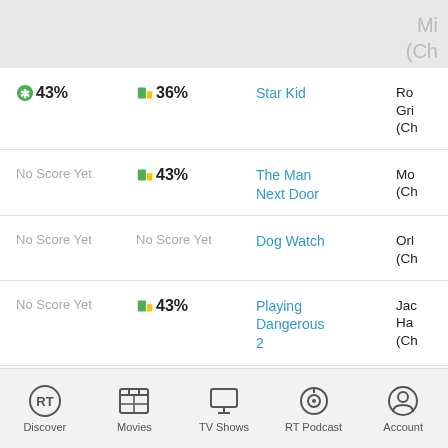| Tomatometer | Audience Score | Title | Details |
| --- | --- | --- | --- |
| 43% | 36% | Star Kid | Ro
Gri
(Ch |
| No Score Yet | 43% | The Man Next Door | Mo
(Ch |
| No Score Yet | No Score Yet | Dog Watch | Orl
(Ch |
| No Score Yet | 43% | Playing Dangerous 2 | Jac
Ha
(Ch |
| No Score Yet | 67% | The West Side Waltz | Un
(Ch |
Discover | Movies | TV Shows | RT Podcast | Account